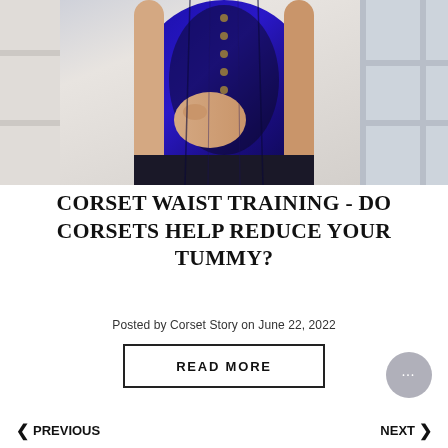[Figure (photo): A person wearing a blue and black lace corset, viewed from the torso area, standing near a window with a white building exterior in the background.]
CORSET WAIST TRAINING - DO CORSETS HELP REDUCE YOUR TUMMY?
Posted by Corset Story on June 22, 2022
READ MORE
< PREVIOUS   NEXT >